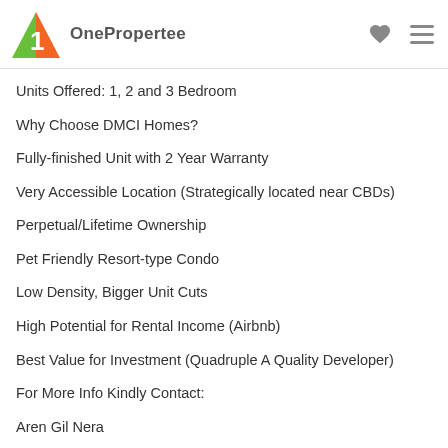OnePropertee
Units Offered: 1, 2 and 3 Bedroom
Why Choose DMCI Homes?
Fully-finished Unit with 2 Year Warranty
Very Accessible Location (Strategically located near CBDs)
Perpetual/Lifetime Ownership
Pet Friendly Resort-type Condo
Low Density, Bigger Unit Cuts
High Potential for Rental Income (Airbnb)
Best Value for Investment (Quadruple A Quality Developer)
For More Info Kindly Contact:
Aren Gil Nera